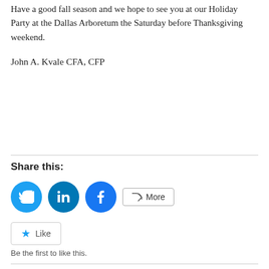Have a good fall season and we hope to see you at our Holiday Party at the Dallas Arboretum the Saturday before Thanksgiving weekend.
John A. Kvale CFA, CFP
Share this:
[Figure (other): Social share buttons: Twitter (blue circle), LinkedIn (dark blue circle), Facebook (blue circle), and a More button with share icon]
[Figure (other): Like button with star icon and text 'Be the first to like this.']